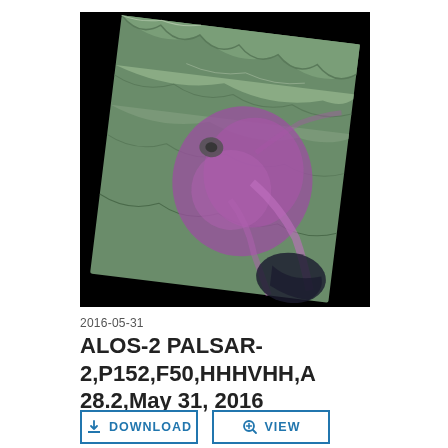[Figure (photo): Satellite SAR image of a volcanic region showing green and purple false-color radar backscatter. The image is rotated slightly clockwise on a black background, depicting mountainous terrain with a volcanic caldera area highlighted in purple/magenta in the center-right portion.]
2016-05-31
ALOS-2 PALSAR-2,P152,F50,HHHVHH,A 28.2,May 31, 2016
DOWNLOAD
VIEW